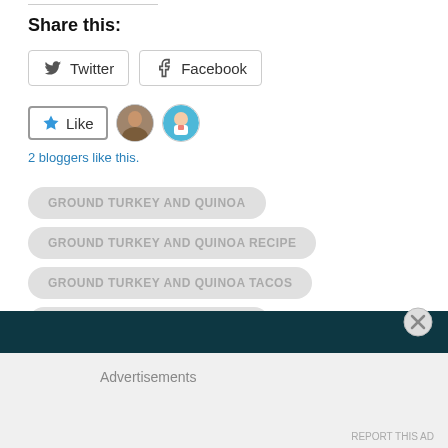Share this:
Twitter
Facebook
2 bloggers like this.
GROUND TURKEY AND QUINOA
GROUND TURKEY AND QUINOA RECIPE
GROUND TURKEY AND QUINOA TACOS
TURKEY QUINOA TACO SKILLET
Advertisements
REPORT THIS AD